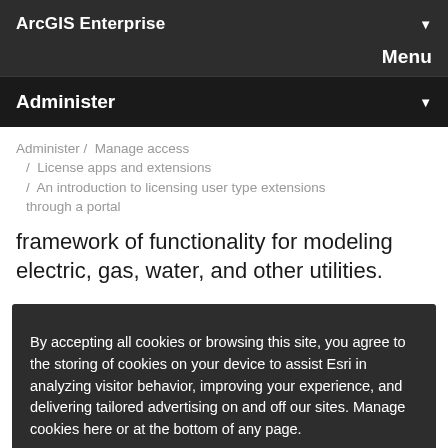ArcGIS Enterprise
Menu
Administer
Administer / Manage access / License apps and extensions / An introduction to licensing user type extensions through a portal
framework of functionality for modeling electric, gas, water, and other utilities.
By accepting all cookies or browsing this site, you agree to the storing of cookies on your device to assist Esri in analyzing visitor behavior, improving your experience, and delivering tailored advertising on and off our sites. Manage cookies here or at the bottom of any page.